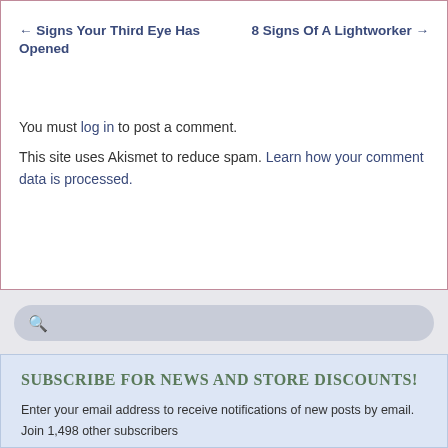← Signs Your Third Eye Has Opened
8 Signs Of A Lightworker →
You must log in to post a comment.
This site uses Akismet to reduce spam. Learn how your comment data is processed.
[Figure (other): Search bar with magnifying glass icon]
SUBSCRIBE FOR NEWS AND STORE DISCOUNTS!
Enter your email address to receive notifications of new posts by email.
Join 1,498 other subscribers
Email Address